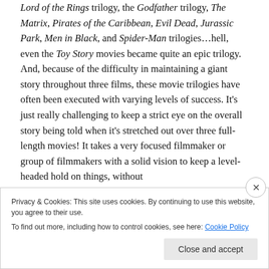Lord of the Rings trilogy, the Godfather trilogy, The Matrix, Pirates of the Caribbean, Evil Dead, Jurassic Park, Men in Black, and Spider-Man trilogies…hell, even the Toy Story movies became quite an epic trilogy. And, because of the difficulty in maintaining a giant story throughout three films, these movie trilogies have often been executed with varying levels of success. It's just really challenging to keep a strict eye on the overall story being told when it's stretched out over three full-length movies! It takes a very focused filmmaker or group of filmmakers with a solid vision to keep a level-headed hold on things, without
Privacy & Cookies: This site uses cookies. By continuing to use this website, you agree to their use.
To find out more, including how to control cookies, see here: Cookie Policy